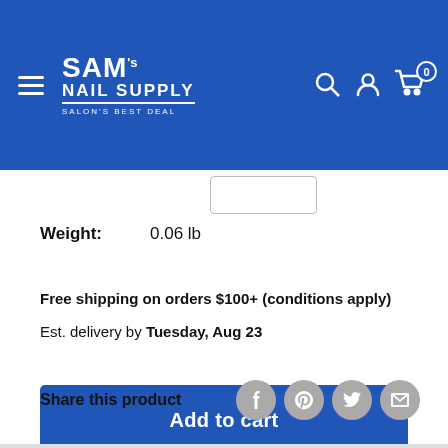SAM's NAIL SUPPLY — SALON'S BEST DEAL — Navigation header with search, account, and cart icons
Weight: 0.06 lb
Free shipping on orders $100+ (conditions apply)
Est. delivery by Tuesday, Aug 23
Add to cart
Share this product